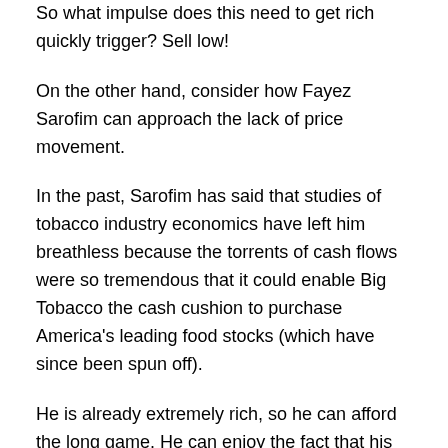So what impulse does this need to get rich quickly trigger? Sell low!
On the other hand, consider how Fayez Sarofim can approach the lack of price movement.
In the past, Sarofim has said that studies of tobacco industry economics have left him breathless because the torrents of cash flows were so tremendous that it could enable Big Tobacco the cash cushion to purchase America's leading food stocks (which have since been spun off).
He is already extremely rich, so he can afford the long game. He can enjoy the fact that his experience with the stock from a position of wealth is far more enjoyable. Between 2014 and 2016, Philip Morris International paid out $12.04 in dividends. When you own 16,711,214 shares, you do not view this as a "dead money" operation. You got to collect over $200 million in